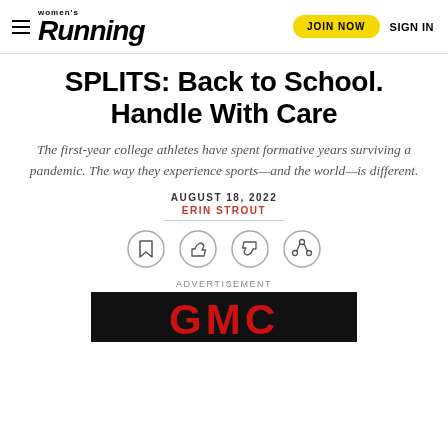Women's Running | JOIN NOW | SIGN IN
SPLITS: Back to School. Handle With Care
The first-year college athletes have spent formative years surviving a pandemic. The way they experience sports—and the world—is different.
AUGUST 18, 2022
ERIN STROUT
[Figure (other): Row of four circular icon buttons: bookmark, thumbs up, thumbs down, share]
ADVERTISEMENT
[Figure (logo): GMC logo on black background]